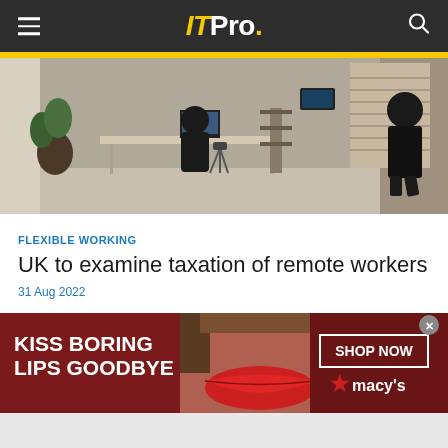ITPro.
[Figure (photo): Office space with a person sitting at a desk with monitors, plants, and another person walking in the background near large windows with blinds]
FLEXIBLE WORKING
UK to examine taxation of remote workers
31 Aug 2022
POLICY & LEGISLATION
What Liz Truss needs to do to save IR35
[Figure (photo): Advertisement banner: KISS BORING LIPS GOODBYE - SHOP NOW - macys (with woman's face and red lips)]